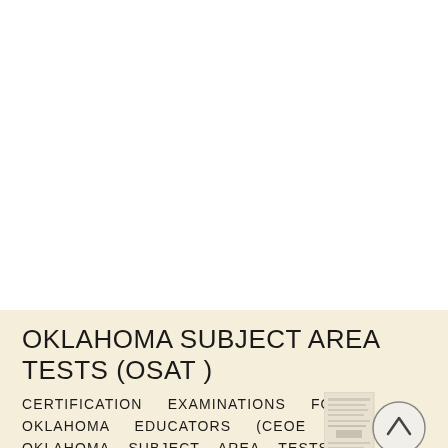OKLAHOMA SUBJECT AREA TESTS (OSAT )
CERTIFICATION EXAMINATIONS FOR OKLAHOMA EDUCATORS (CEOE ) OKLAHOMA SUBJECT AREA TESTS (OSAT )